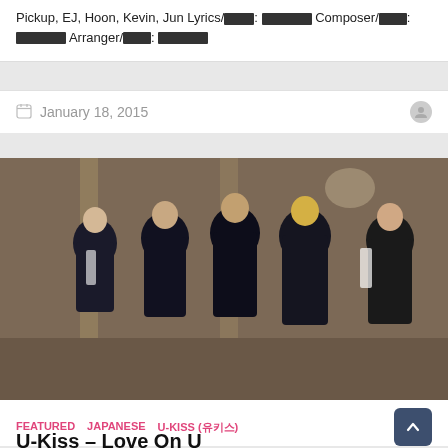Pickup, EJ, Hoon, Kevin, Jun Lyrics/작사: 작사가 Composer/작곡: 작곡가 Arranger/편곡: 편곡가
January 18, 2015
[Figure (photo): Group photo of U-Kiss members in black suits posing dynamically in an interior setting with marble/stone architecture]
FEATURED  JAPANESE  U-KISS (유키스)
U-Kiss – Love On U